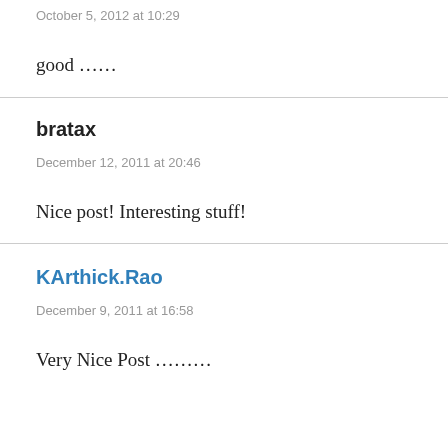October 5, 2012 at 10:29
good ……
bratax
December 12, 2011 at 20:46
Nice post! Interesting stuff!
KArthick.Rao
December 9, 2011 at 16:58
Very Nice Post ………